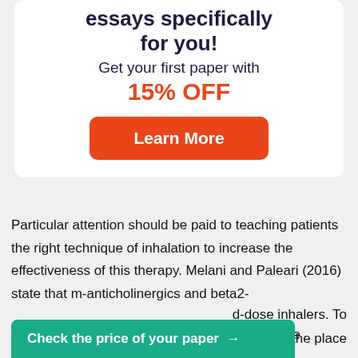essays specifically for you!
Get your first paper with
15% OFF
[Figure (other): Orange 'Learn More' button]
Particular attention should be paid to teaching patients the right technique of inhalation to increase the effectiveness of this therapy. Melani and Paleari (2016) state that m-anticholinergics and beta2- ...d-dose inhalers. To ...livery to the place
[Figure (other): Teal 'Check the price of your paper →' button]